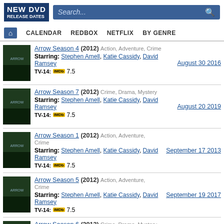NEW DVD RELEASE DATES | Search...
CALENDAR | REDBOX | NETFLIX | BY GENRE
Arrow Season 4 (2012) Action, Adventure, Crime | Starring: Stephen Amell, Katie Cassidy, David Ramsey | TV-14: 7.5 | August 30 2016
Arrow Season 7 (2012) Crime, Drama, Mystery | Starring: Stephen Amell, Katie Cassidy, David Ramsey | TV-14: 7.5 | August 20 2019
Arrow Season 1 (2012) Action, Adventure, Crime | Starring: Stephen Amell, Katie Cassidy, David Ramsey | TV-14: 7.5 | September 17 2013
Arrow Season 5 (2012) Action, Adventure, Crime | Starring: Stephen Amell, Katie Cassidy, David Ramsey | TV-14: 7.5 | September 19 2017
Arrow Season 6 (2012) Crime, Drama, Mystery | Starring: Stephen Amell, Katie Cassidy, David Ramsey | TV-14: 7.5 | August 14 2018
Arrow Season 2 (2012) Action, Adventure, Crime | Starring: Stephen Amell, Katie Cassidy, David Ramsey | TV-14: 7.5 | September 16 2014
Arrow Season 3 (2012) Action, Adventure, Crime | Starring: ...